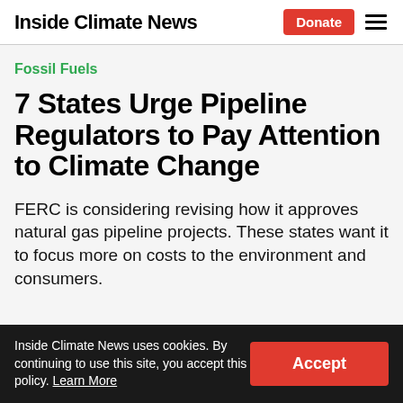Inside Climate News
Fossil Fuels
7 States Urge Pipeline Regulators to Pay Attention to Climate Change
FERC is considering revising how it approves natural gas pipeline projects. These states want it to focus more on costs to the environment and consumers.
Inside Climate News uses cookies. By continuing to use this site, you accept this policy. Learn More